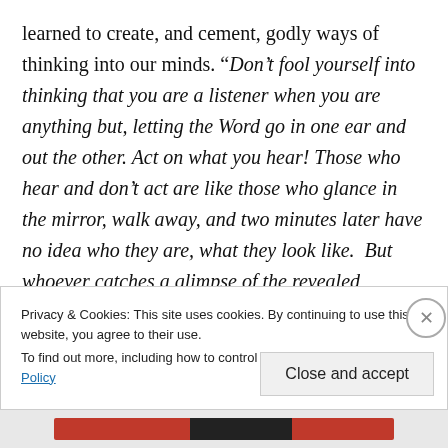learned to create, and cement, godly ways of thinking into our minds. “Don’t fool yourself into thinking that you are a listener when you are anything but, letting the Word go in one ear and out the other. Act on what you hear! Those who hear and don’t act are like those who glance in the mirror, walk away, and two minutes later have no idea who they are, what they look like. But whoever catches a glimpse of the revealed counsel of God–the free life!–even out of the corner of his eye, and sticks with it, is no distracted
Privacy & Cookies: This site uses cookies. By continuing to use this website, you agree to their use.
To find out more, including how to control cookies, see here: Cookie Policy
Close and accept